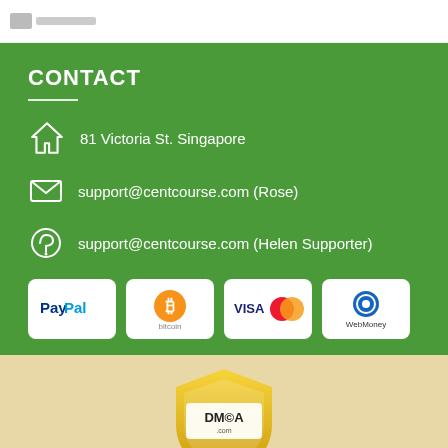CONTACT
81 Victoria St. Singapore
support@centcourse.com (Rose)
support@centcourse.com (Helen Supporter)
[Figure (other): Payment method logos: PayPal, Bitcoin, VISA/Mastercard, WebMoney]
[Figure (other): DMCA Protected shield badge]